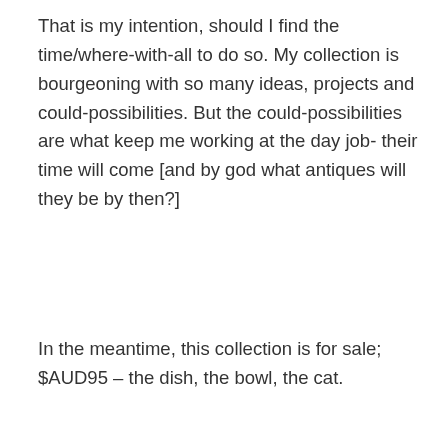That is my intention, should I find the time/where-with-all to do so. My collection is bourgeoning with so many ideas, projects and could-possibilities. But the could-possibilities are what keep me working at the day job- their time will come [and by god what antiques will they be by then?]
In the meantime, this collection is for sale; $AUD95 – the dish, the bowl, the cat.
Buy Now
February 10, 2014
Leave a Reply
Pina colada!
[Figure (photo): Partial image of what appears to be a round ceramic or pottery item on a light background]